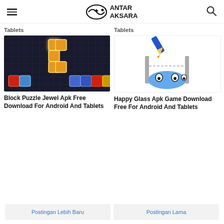Antar Aksara
Tablets
Tablets
[Figure (screenshot): Block Puzzle Jewel game screenshot showing colorful gem blocks on dark background]
[Figure (screenshot): Happy Glass game screenshot showing cartoon glass character with pencil]
Block Puzzle Jewel Apk Free Download For Android And Tablets
Happy Glass Apk Game Download Free For Android And Tablets
Postingan Lebih Baru
Postingan Lama